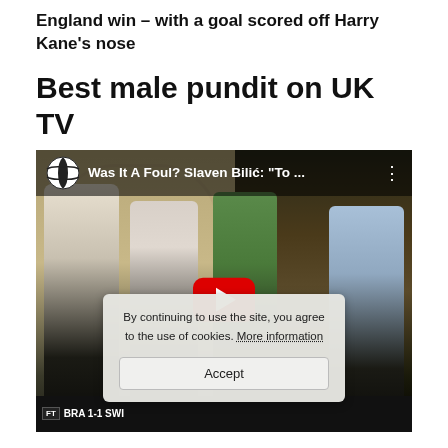England win – with a goal scored off Harry Kane's nose
Best male pundit on UK TV
[Figure (screenshot): Embedded YouTube video thumbnail showing four male football pundits seated on a TV set, with a cookie consent overlay. Video title reads: 'Was It A Foul? Slaven Bilić: "To ...' with a football emoji icon. Score bar at bottom shows FT BRA 1-1 SWI. Cookie overlay text: 'By continuing to use the site, you agree to the use of cookies. More information' with an Accept button.]
By continuing to use the site, you agree to the use of cookies. More information
Accept